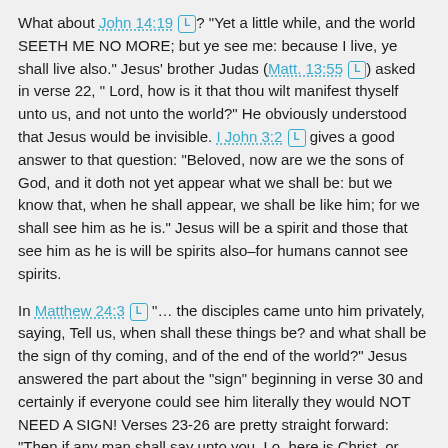What about John 14:19 [L]? "Yet a little while, and the world SEETH ME NO MORE; but ye see me: because I live, ye shall live also." Jesus' brother Judas (Matt. 13:55 [L]) asked in verse 22, " Lord, how is it that thou wilt manifest thyself unto us, and not unto the world?" He obviously understood that Jesus would be invisible. I John 3:2 [L] gives a good answer to that question: "Beloved, now are we the sons of God, and it doth not yet appear what we shall be: but we know that, when he shall appear, we shall be like him; for we shall see him as he is." Jesus will be a spirit and those that see him as he is will be spirits also–for humans cannot see spirits.
In Matthew 24:3 [L] "... the disciples came unto him privately, saying, Tell us, when shall these things be? and what shall be the sign of thy coming, and of the end of the world?" Jesus answered the part about the "sign" beginning in verse 30 and certainly if everyone could see him literally they would NOT NEED A SIGN! Verses 23-26 are pretty straight forward: "Then if any man shall say unto you, Lo, here is Christ, or there; BELIEVE IT NOT. For there shall arise false Christs and false prophets, and shall shew great signs and wonders; insomuch that, if it were possible, they shall deceive the very elect. Behold, I have told you before. Wherefore if they shall say unto you, Behold, he is in the desert; GO NOT FORTH; behold, he is in the secret chambers; BELIEVE IT NOT"